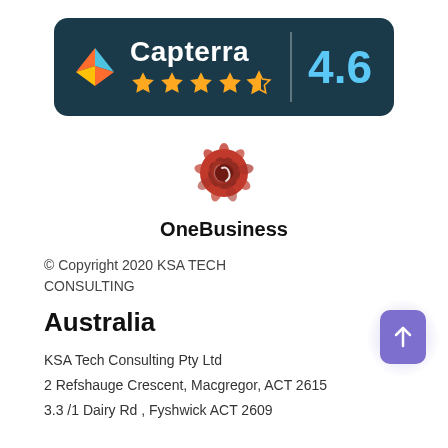[Figure (logo): Capterra badge with logo, 5 gold stars (4.6 rating shown), score 4.6 on dark navy background]
[Figure (logo): OneBusiness logo — red/orange flower-like icon above the text OneBusiness]
© Copyright 2020 KSA TECH CONSULTING
Australia
KSA Tech Consulting Pty Ltd
2 Refshauge Crescent, Macgregor, ACT 2615
3.3 /1 Dairy Rd , Fyshwick ACT 2609